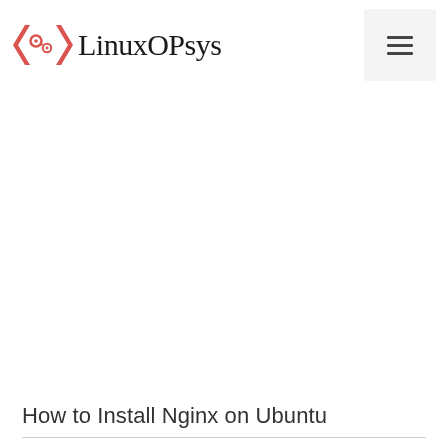LinuxOPsys
[Figure (illustration): Large blank/white image placeholder area in the center of the page]
How to Install Nginx on Ubuntu